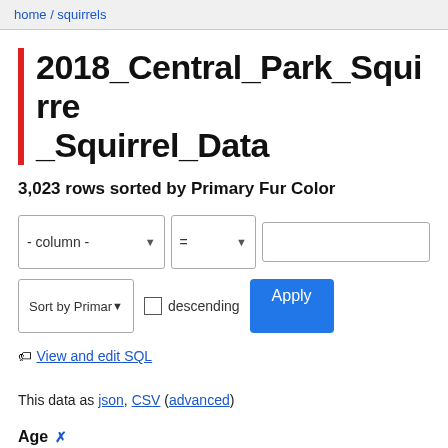home / squirrels
2018_Central_Park_Squirre_Squirrel_Data
3,023 rows sorted by Primary Fur Color
- column - = [value input] Sort by Primary [sort button] descending [checkbox] Apply
View and edit SQL
This data as json, CSV (advanced)
Age ✕